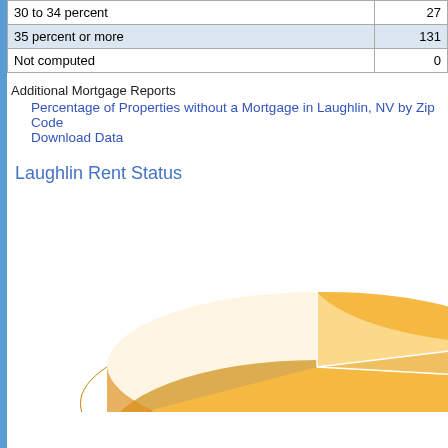|  |  |
| --- | --- |
| 30 to 34 percent | 27 |
| 35 percent or more | 131 |
| Not computed | 0 |
Additional Mortgage Reports
Percentage of Properties without a Mortgage in Laughlin, NV by Zip Code
Download Data
Laughlin Rent Status
[Figure (pie-chart): 3D pie chart showing Laughlin Rent Status. One large dominant slice labeled '$500 to $749' occupies most of the chart. Two smaller slices are visible near the top right. The chart has a gold/orange color scheme with a 3D perspective effect.]